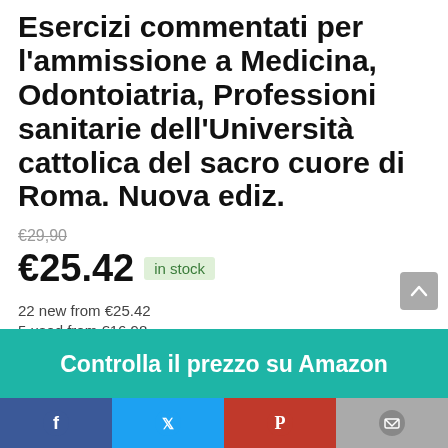Esercizi commentati per l'ammissione a Medicina, Odontoiatria, Professioni sanitarie dell'Università cattolica del sacro cuore di Roma. Nuova ediz.
€29,90
€25.42  in stock
22 new from €25.42
5 used from €16.98
Free shipping
Controlla il prezzo su Amazon